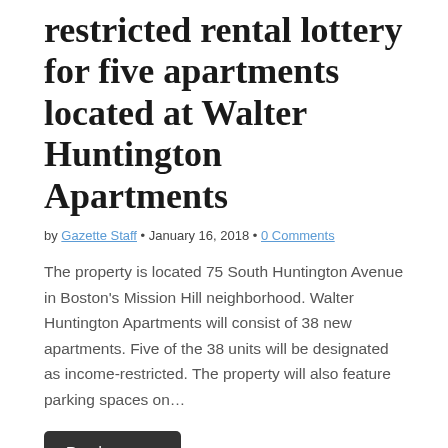restricted rental lottery for five apartments located at Walter Huntington Apartments
by Gazette Staff • January 16, 2018 • 0 Comments
The property is located 75 South Huntington Avenue in Boston's Mission Hill neighborhood. Walter Huntington Apartments will consist of 38 new apartments. Five of the 38 units will be designated as income-restricted. The property will also feature parking spaces on…
Read more →
Mayor Walsh is sworn in to serve second term